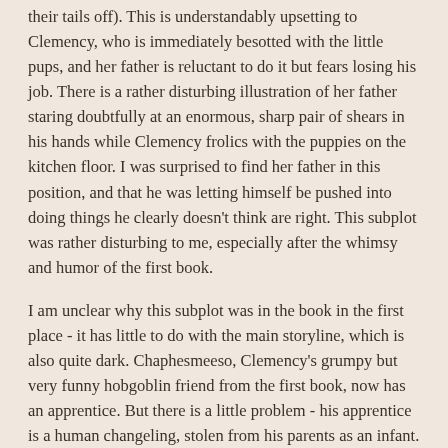their tails off). This is understandably upsetting to Clemency, who is immediately besotted with the little pups, and her father is reluctant to do it but fears losing his job. There is a rather disturbing illustration of her father staring doubtfully at an enormous, sharp pair of shears in his hands while Clemency frolics with the puppies on the kitchen floor. I was surprised to find her father in this position, and that he was letting himself be pushed into doing things he clearly doesn't think are right. This subplot was rather disturbing to me, especially after the whimsy and humor of the first book.
I am unclear why this subplot was in the book in the first place - it has little to do with the main storyline, which is also quite dark. Chaphesmeeso, Clemency's grumpy but very funny hobgoblin friend from the first book, now has an apprentice. But there is a little problem - his apprentice is a human changeling, stolen from his parents as an infant. We learn that usually the clay baby that is substituted for the child simply dissolves into nothing the first time it's given a bath (and there is a scene of a baby dissolving before the eyes of its horrified and frantic mother to illustrate the point), but the clay baby that was substituted for Chaphesmeeso's